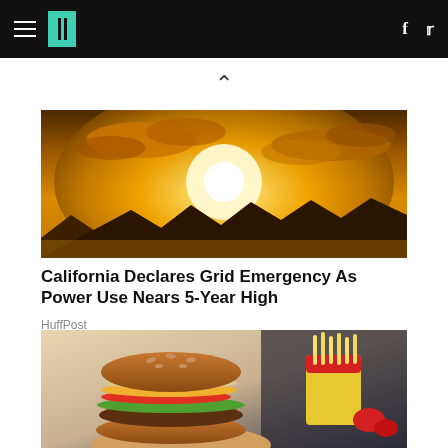HuffPost navigation bar with hamburger menu, logo, Facebook and Twitter icons
[Figure (photo): Bright golden sunset with glowing sun behind clouds and silhouetted mountains]
California Declares Grid Emergency As Power Use Nears 5-Year High
HuffPost
[Figure (photo): Hand holding a large burger with toppings next to a fast food tray with fries and ketchup cups]